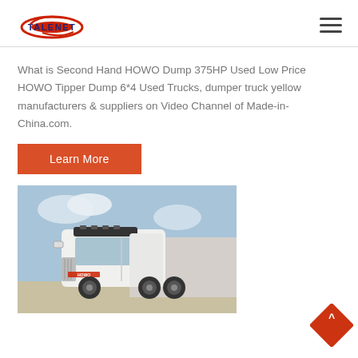TALENET
What is Second Hand HOWO Dump 375HP Used Low Price HOWO Tipper Dump 6*4 Used Trucks, dumper truck yellow manufacturers & suppliers on Video Channel of Made-in-China.com.
Learn More
[Figure (photo): White HOWO truck tractor cab photographed outdoors near industrial buildings under a blue sky]